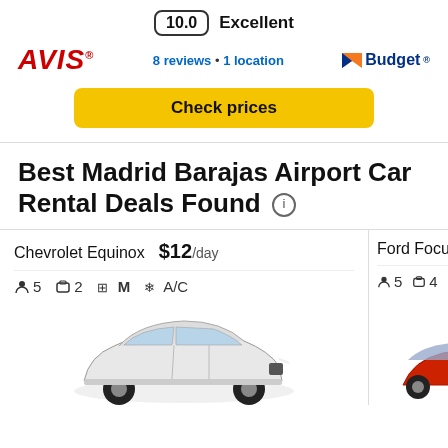10.0  Excellent
[Figure (logo): AVIS car rental logo in red italic bold text]
8 reviews • 1 location
[Figure (logo): Budget car rental logo with orange/blue checkmark icon]
Check prices
Best Madrid Barajas Airport Car Rental Deals Found
Chevrolet Equinox  $12/day   👤5  🧳2  M  A/C
Ford Focus  👤5  🧳4